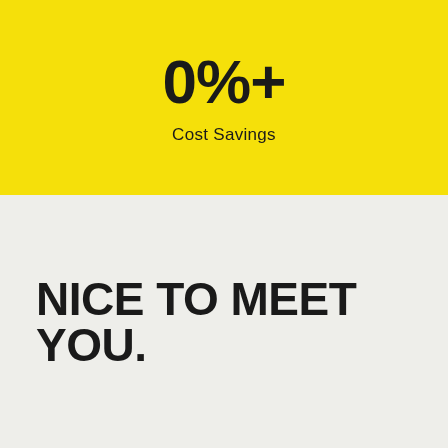0%+
Cost Savings
NICE TO MEET YOU.